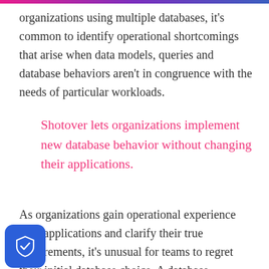organizations using multiple databases, it's common to identify operational shortcomings that arise when data models, queries and database behaviors aren't in congruence with the needs of particular workloads.
Shotover lets organizations implement new database behavior without changing their applications.
As organizations gain operational experience with applications and clarify their true requirements, it's unusual for teams to regret their initial database choice. A database originally selected to persist the